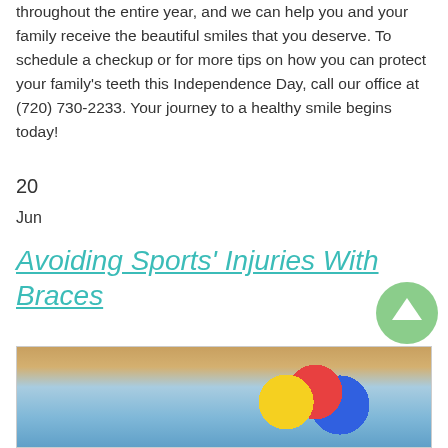throughout the entire year, and we can help you and your family receive the beautiful smiles that you deserve. To schedule a checkup or for more tips on how you can protect your family's teeth this Independence Day, call our office at (720) 730-2233. Your journey to a healthy smile begins today!
20
Jun
Avoiding Sports' Injuries With Braces
Posted In: braces bracket cavities child orthodontics Flossing with Braces mouth guard oral health sports injuries wire
-->
[Figure (photo): Blurred photo of colorful sports balls (yellow, red, blue) on a gymnasium floor with a warm wood-toned background]